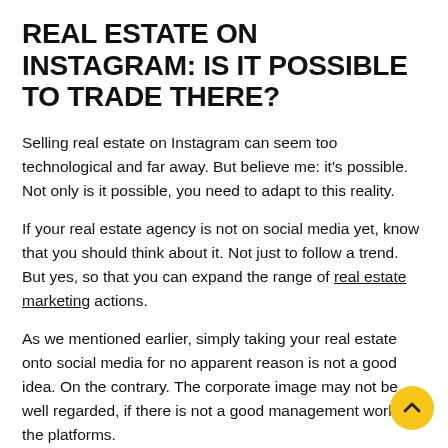REAL ESTATE ON INSTAGRAM: IS IT POSSIBLE TO TRADE THERE?
Selling real estate on Instagram can seem too technological and far away. But believe me: it's possible. Not only is it possible, you need to adapt to this reality.
If your real estate agency is not on social media yet, know that you should think about it. Not just to follow a trend. But yes, so that you can expand the range of real estate marketing actions.
As we mentioned earlier, simply taking your real estate onto social media for no apparent reason is not a good idea. On the contrary. The corporate image may not be well regarded, if there is not a good management work in the platforms.
That's why doing it right from the start is very important.
Among other “correct” actions are negotiations. Trading through Instagram is possible and viable. But, it is necessary to adapt to